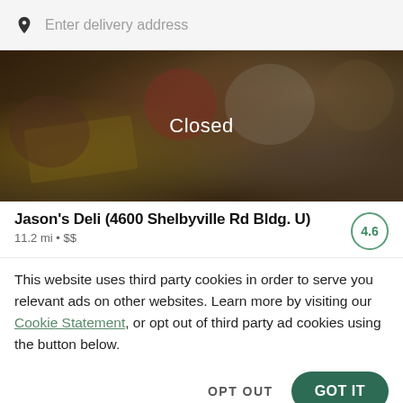Enter delivery address
[Figure (photo): Dark overlay on food spread showing deli items (cheese, meat, tomatoes, bread, salads) with 'Closed' text centered]
Jason's Deli (4600 Shelbyville Rd Bldg. U)
11.2 mi • $$
This website uses third party cookies in order to serve you relevant ads on other websites. Learn more by visiting our Cookie Statement, or opt out of third party ad cookies using the button below.
OPT OUT
GOT IT